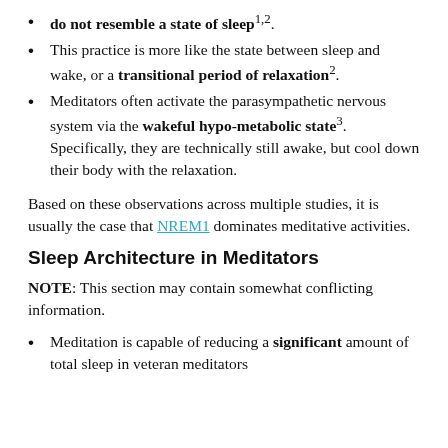do not resemble a state of sleep^1,2.
This practice is more like the state between sleep and wake, or a transitional period of relaxation^2.
Meditators often activate the parasympathetic nervous system via the wakeful hypo-metabolic state^3. Specifically, they are technically still awake, but cool down their body with the relaxation.
Based on these observations across multiple studies, it is usually the case that NREM1 dominates meditative activities.
Sleep Architecture in Meditators
NOTE: This section may contain somewhat conflicting information.
Meditation is capable of reducing a significant amount of total sleep in veteran meditators